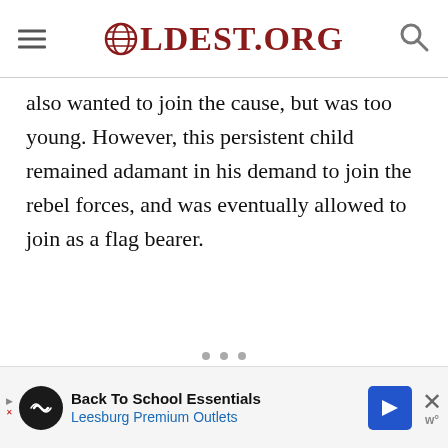OLDEST.ORG
also wanted to join the cause, but was too young. However, this persistent child remained adamant in his demand to join the rebel forces, and was eventually allowed to join as a flag bearer.
[Figure (screenshot): Advertisement banner: Back To School Essentials - Leesburg Premium Outlets]